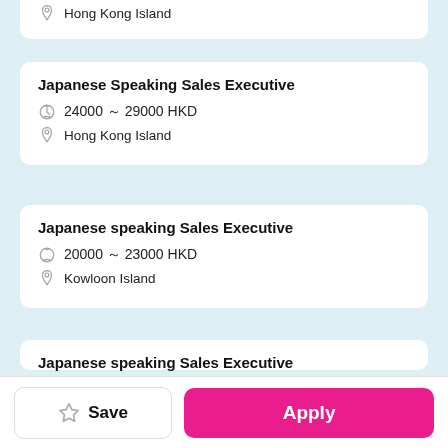Hong Kong Island
Japanese Speaking Sales Executive
24000 ～ 29000 HKD
Hong Kong Island
Japanese speaking Sales Executive
20000 ～ 23000 HKD
Kowloon Island
Japanese speaking Sales Executive
18000 ～ 23000 HKD
Kowloon Island